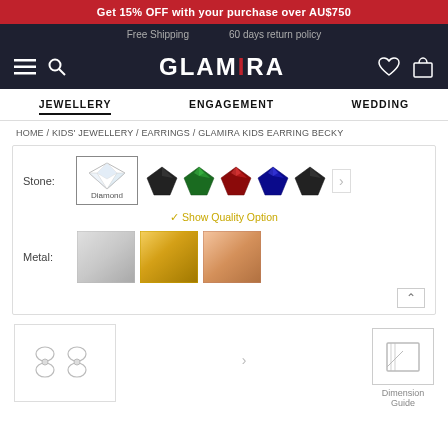Get 15% OFF with your purchase over AU$750
Free Shipping   60 days return policy
GLAMIRA
JEWELLERY   ENGAGEMENT   WEDDING
HOME / KIDS' JEWELLERY / EARRINGS / GLAMIRA KIDS EARRING BECKY
[Figure (screenshot): Stone selector showing Diamond (selected), black, green, red, blue, black gem options with arrow]
✔ Show Quality Option
[Figure (screenshot): Metal color swatches: silver, gold, rose gold]
[Figure (photo): Product thumbnail of Glamira Kids Earring Becky - butterfly shaped silver earrings]
Dimension Guide